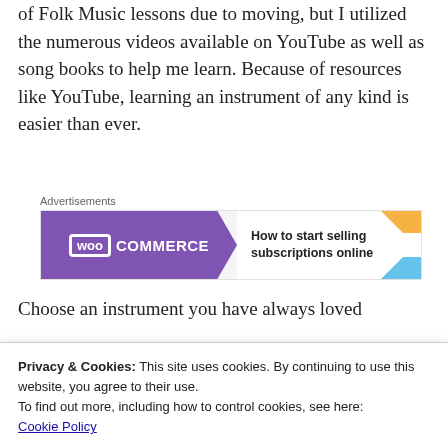of Folk Music lessons due to moving, but I utilized the numerous videos available on YouTube as well as song books to help me learn. Because of resources like YouTube, learning an instrument of any kind is easier than ever.
[Figure (other): WooCommerce advertisement banner: purple background with WooCommerce logo on left and text 'How to start selling subscriptions online' on right with colorful decorative shapes]
Choose an instrument you have always loved
Privacy & Cookies: This site uses cookies. By continuing to use this website, you agree to their use.
To find out more, including how to control cookies, see here:
Cookie Policy
[Close and accept button]